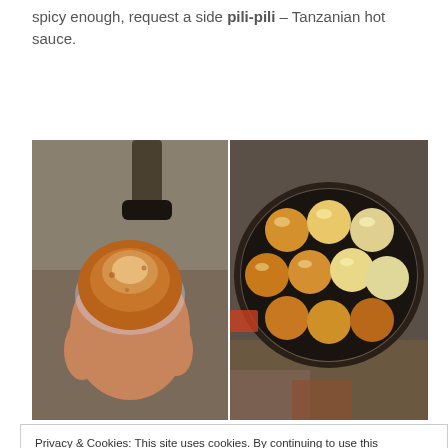spicy enough, request a side pili-pili – Tanzanian hot sauce.
[Figure (photo): Two side-by-side food photos: left shows a hand holding a bitten fried dough ball wrapped in plastic; right shows a round cast-iron pan with multiple golden-fried dough balls cooking over coals.]
Privacy & Cookies: This site uses cookies. By continuing to use this website, you agree to their use.
To find out more, including how to control cookies, see here: Cookie Policy